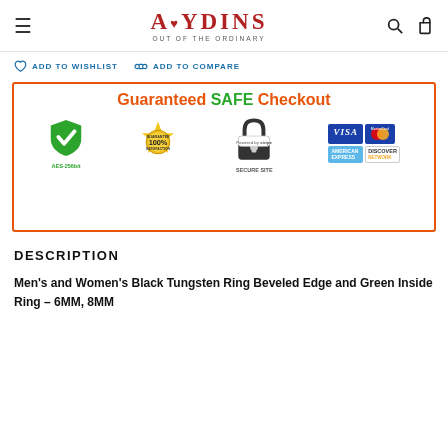AYDINS OUT OF THE ORDINARY
ADD TO WISHLIST   ADD TO COMPARE
[Figure (infographic): Guaranteed SAFE Checkout banner with green shield/checkmark (AES-256bit), 100% Guarantee Satisfaction gold seal, Stripe Secure Site padlock, Visa, MasterCard, American Express, and Discover Network payment icons]
DESCRIPTION
Men's and Women's Black Tungsten Ring Beveled Edge and Green Inside Ring – 6MM, 8MM